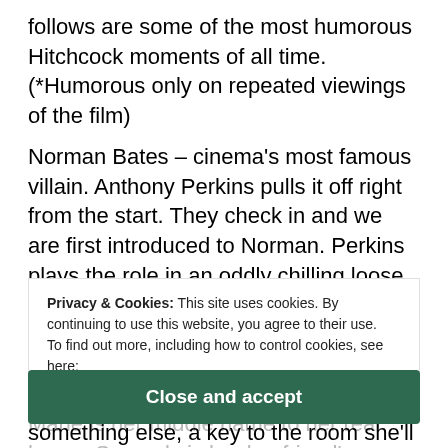follows are some of the most humorous Hitchcock moments of all time. (*Humorous only on repeated viewings of the film)
Norman Bates – cinema's most famous villain. Anthony Perkins pulls it off right from the start. They check in and we are first introduced to Norman. Perkins plays the role in an oddly chilling loose and naturalistic manner. Marion signs as 'Marie Samuels'. Again, the alias signature is pathetic as it's proof of her not doing a good job at covering up, as Marie is her middle name to her real home. Samuels is her boyfriend's name. Norman asks her to write her home address as well. She looks at the newspaper that reads 'Los Angeles'
Privacy & Cookies: This site uses cookies. By continuing to use this website, you agree to their use.
To find out more, including how to control cookies, see here:
Cookie Policy
Close and accept
something else, a key to the room she'll be spending